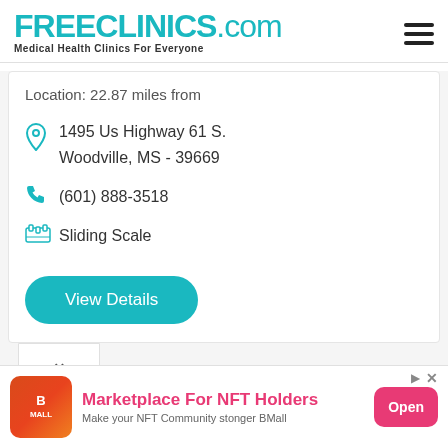FREECLINICS.COM Medical Health Clinics For Everyone
Location: 22.87 miles from
1495 Us Highway 61 S.
Woodville, MS - 39669
(601) 888-3518
Sliding Scale
View Details
[Figure (screenshot): Ad banner for BMall - Marketplace For NFT Holders. Make your NFT Community stonger BMall. Open button.]